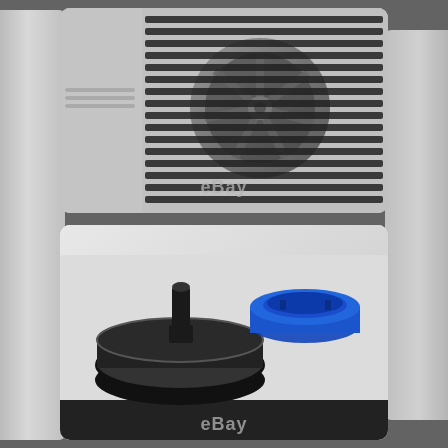[Figure (photo): Top-down or close-up view of the back/top of a portable air conditioner unit showing fan grilles and vents, with an eBay watermark overlay. The unit is silver/grey colored with horizontal slat vents and a fan visible through the grille.]
[Figure (photo): Close-up view of a portable air conditioner's drain plug/cap components on a white surface. Shows a black circular drain tray with a center post/plug, and a blue circular cap/ring next to it. eBay watermark visible.]